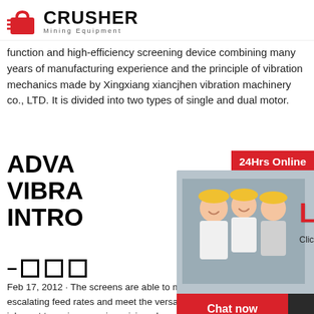CRUSHER Mining Equipment
function and high-efficiency screening device combining many years of manufacturing experience and the principle of vibration mechanics made by Xingxiang xiancjhen vibration machinery co., LTD. It is divided into two types of single and dual motor.
ADVA VIBRA INTRO
[Figure (screenshot): Live chat popup overlay showing construction workers with yellow helmets, LIVE CHAT text in red, 'Click for a Free Consultation' subtitle, and Chat now / Chat later buttons]
Feb 17, 2012 · The screens are able to manage escalating feed rates and meet the versatile spe inherent to main screening, sizing, dewatering, d deslurrying of bulk materials for instance tough gravel, ore, ore, oil sand and salt – advanced scr equipment from Hongxing. Advantages of linear screen: 1,